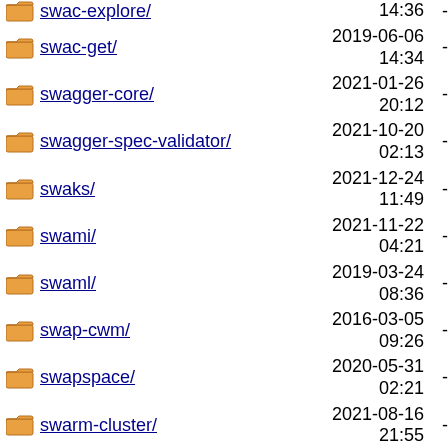swac-explore/ 14:36 -
swac-get/ 2019-06-06 14:34 -
swagger-core/ 2021-01-26 20:12 -
swagger-spec-validator/ 2021-10-20 02:13 -
swaks/ 2021-12-24 11:49 -
swami/ 2021-11-22 04:21 -
swaml/ 2019-03-24 08:36 -
swap-cwm/ 2016-03-05 09:26 -
swapspace/ 2020-05-31 02:21 -
swarm-cluster/ 2021-08-16 21:55 -
swarp/ 2021-08-15 15:09 -
swatch/ 2021-03-04 02:12 -